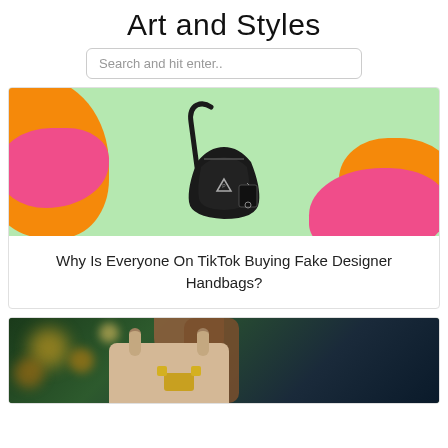Art and Styles
Search and hit enter..
[Figure (photo): Black Prada-style nylon hobo handbag with a tag, displayed on a colorful abstract background with pink, orange, and green blob shapes.]
Why Is Everyone On TikTok Buying Fake Designer Handbags?
[Figure (photo): Person holding a beige designer handbag with gold hardware against a blurred outdoor background with bokeh lights.]